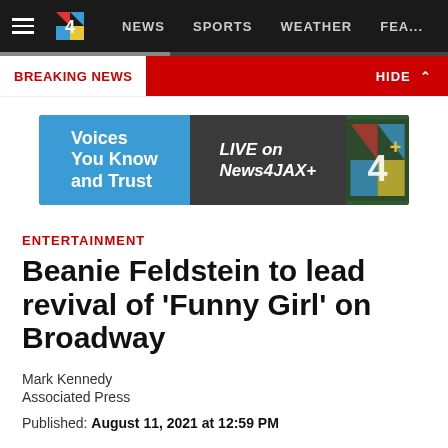NEWS   SPORTS   WEATHER   FE...
[Figure (screenshot): Breaking news red banner with BREAKING NEWS label on left and HIDE button on right]
[Figure (infographic): Advertisement banner: Voices You Know and Trust | LIVE on News4JAX+ | Channel 4 logo]
ENTERTAINMENT
Beanie Feldstein to lead revival of 'Funny Girl' on Broadway
Mark Kennedy
Associated Press
Published: August 11, 2021 at 12:59 PM